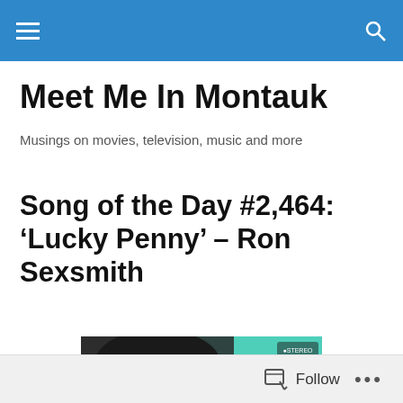Meet Me In Montauk — navigation header
Meet Me In Montauk
Musings on movies, television, music and more
Song of the Day #2,464: ‘Lucky Penny’ – Ron Sexsmith
[Figure (photo): Album cover for Ron Sexsmith's 'Carousel One' featuring the artist's name in stylized text and the album title 'CAROUSEL ONE' in large white letters on a teal/mint green background with a monochrome photo of the artist.]
Follow